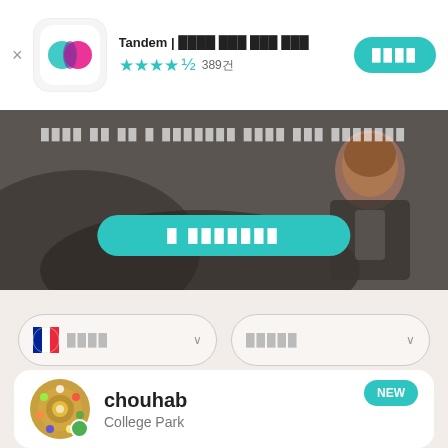Tandem | ████ ██ ███ ███
★★★★☆ 389건
설치
[Figure (photo): Hero background image of a traveler with mountains, with teal CTA button overlay]
████ ██ ██ ██████ ████ ███ ███████
█ ███████
🇫🇷 언어 ∨
원어민 ∨
chouhab
College Park
NEW